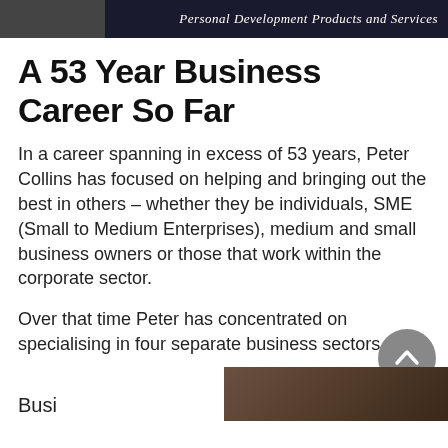Personal Development Products and Services
A 53 Year Business Career So Far
In a career spanning in excess of 53 years, Peter Collins has focused on helping and bringing out the best in others – whether they be individuals, SME (Small to Medium Enterprises), medium and small business owners or those that work within the corporate sector.
Over that time Peter has concentrated on specialising in four separate business sectors.
[Figure (photo): Partial bottom image, appears to be a person or building interior, cropped at bottom of page]
Busi